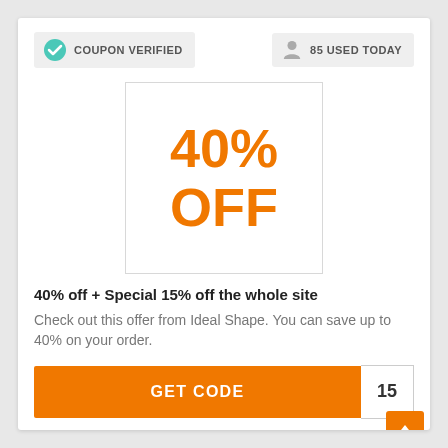COUPON VERIFIED
85 USED TODAY
[Figure (infographic): Box displaying '40% OFF' in large orange bold text]
40% off + Special 15% off the whole site
Check out this offer from Ideal Shape. You can save up to 40% on your order.
GET CODE 15